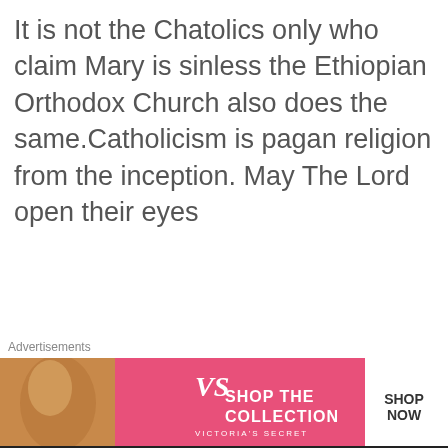It is not the Chatolics only who claim Mary is sinless the Ethiopian Orthodox Church also does the same.Catholicism is pagan religion from the inception. May The Lord open their eyes
[Figure (other): User avatar icon — orange/gold diamond/hexagon shape outline logo]
mamabear
August 20, 2015 at 7:20 pm  Reply
[Figure (other): Victoria's Secret advertisement banner: woman photo on left, VS logo and 'SHOP THE COLLECTION' text in pink center, white 'SHOP NOW' button on right]
Advertisements